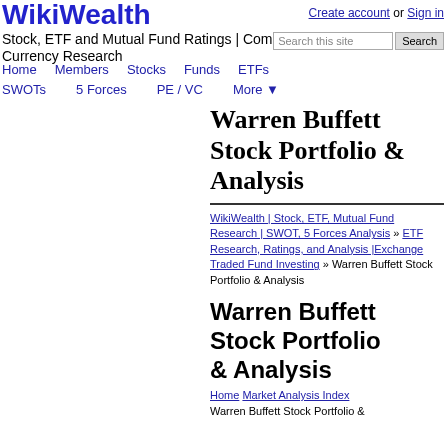WikiWealth
Stock, ETF and Mutual Fund Ratings | Commodity, Currency Research
Create account or Sign in
Search this site [Search]
Home Members Stocks Funds ETFs SWOTs 5 Forces PE / VC More ▼
Warren Buffett Stock Portfolio & Analysis
WikiWealth | Stock, ETF, Mutual Fund Research | SWOT, 5 Forces Analysis » ETF Research, Ratings, and Analysis |Exchange Traded Fund Investing » Warren Buffett Stock Portfolio & Analysis
Warren Buffett Stock Portfolio & Analysis
Home Market Analysis Index Warren Buffett Stock Portfolio &